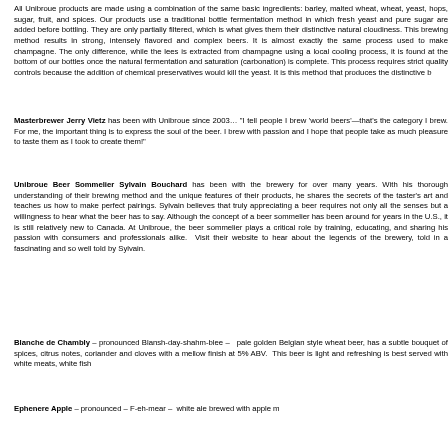All Unibroue products are made using a combination of the same basic ingredients: barley, malted wheat, wheat, yeast, hops, sugar, fruit, and spices. Our products use a traditional bottle fermentation method in which fresh yeast and pure sugar are added before bottling. They are only partially filtered, which is what gives them their distinctive natural cloudiness. This brewing method results in strong, intensely flavored and complex beers. It is almost exactly the same process used to make champagne. The only difference, while the lees is extracted from champagne using a local cooling process, it is found at the bottom of our bottles once the natural fermentation and saturation (carbonation) is complete. This process requires strict quality controls because the addition of chemical preservatives would kill the yeast. It is this method that produces the distinctive b...
Masterbrewer Jerry Vietz has been with Unibroue since 2003... "I tell people I brew 'world beers'—that's the category I brew. For me, the important thing is to express the soul of the beer. I brew with passion and I hope that people take as much pleasure to taste them as I took to create them!"
Unibroue Beer Sommelier Sylvain Bouchard has been with the brewery for over 10 years. With his thorough understanding of their brewing method and the unique features of their products, he shares the secrets of the taster's art and teaches us how to make perfect pairings. Sylvain believes that truly appreciating a beer requires not only all the senses but a willingness to hear what the beer has to say. Although the concept of a beer sommelier has been around for years in the U.S., it is still relatively new to Canada. At Unibroue, the beer sommelier plays a critical role by training, educating, and sharing his passion with consumers and professionals alike. Visit their website to hear about the legends of the brewery, told in a fascinating and so well told by Sylvain.
Blanche de Chambly – pronounced Blansh-day-shahm-blee – pale golden Belgian style wheat beer, has a subtle bouquet of spices, citrus notes, coriander and cloves with a mellow finish at 5% ABV. This beer is light and refreshing is best served with white meats, white fish...
Ephenere Apple – pronounced – F-eh-mear – white ale brewed with apple m...